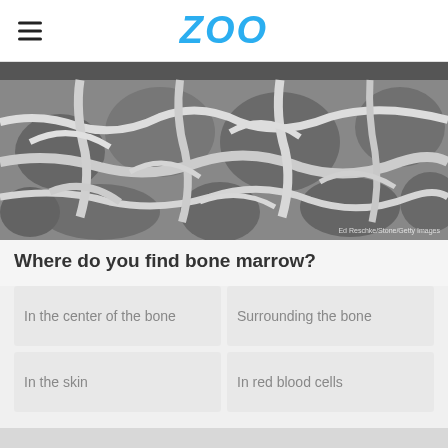ZOO
[Figure (photo): Microscopic close-up image of bone marrow structure showing white trabecular bone network against grey background, credit: Ed Reschke/Stone/Getty Images]
Where do you find bone marrow?
In the center of the bone
Surrounding the bone
In the skin
In red blood cells